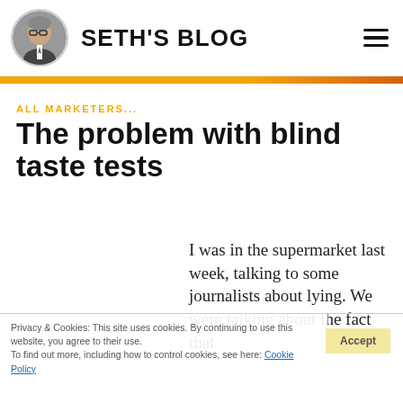SETH'S BLOG
ALL MARKETERS...
The problem with blind taste tests
I was in the supermarket last week, talking to some journalists about lying. We were talking about the fact that
Privacy & Cookies: This site uses cookies. By continuing to use this website, you agree to their use. To find out more, including how to control cookies, see here: Cookie Policy